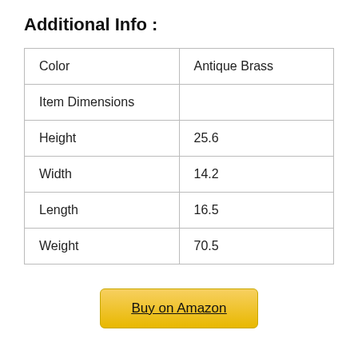Additional Info :
| Color | Antique Brass |
| Item Dimensions |  |
| Height | 25.6 |
| Width | 14.2 |
| Length | 16.5 |
| Weight | 70.5 |
Buy on Amazon